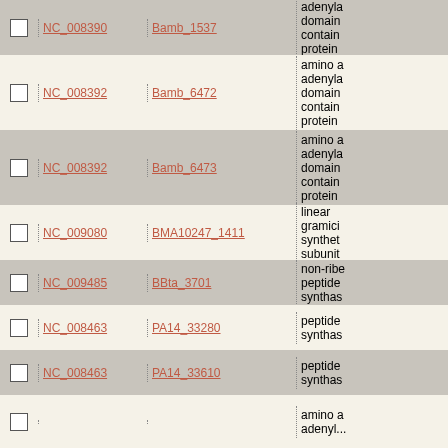|  | NC Accession | Gene | Description |
| --- | --- | --- | --- |
| ☐ | NC_008390 | Bamb_1537 | adenylation domain containing protein |
| ☐ | NC_008392 | Bamb_6472 | amino acid adenylation domain containing protein |
| ☐ | NC_008392 | Bamb_6473 | amino acid adenylation domain containing protein |
| ☐ | NC_009080 | BMA10247_1411 | linear gramicidin synthetase subunit |
| ☐ | NC_009485 | BBta_3701 | non-ribosomal peptide synthas... |
| ☐ | NC_008463 | PA14_33280 | peptide synthas... |
| ☐ | NC_008463 | PA14_33610 | peptide synthas... |
| ☐ |  |  | amino acid adenyl... |